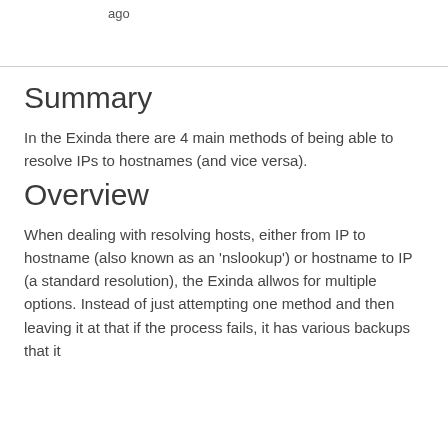ago
Summary
In the Exinda there are 4 main methods of being able to resolve IPs to hostnames (and vice versa).
Overview
When dealing with resolving hosts, either from IP to hostname (also known as an 'nslookup') or hostname to IP (a standard resolution), the Exinda allwos for multiple options. Instead of just attempting one method and then leaving it at that if the process fails, it has various backups that it